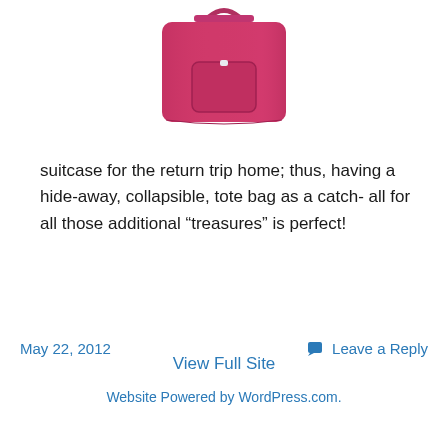[Figure (photo): A hot pink/magenta collapsible tote bag with a front pocket, photographed against a white background]
suitcase for the return trip home; thus, having a hide-away, collapsible, tote bag as a catch- all for all those additional “treasures” is perfect!
May 22, 2012
Leave a Reply
View Full Site
Website Powered by WordPress.com.